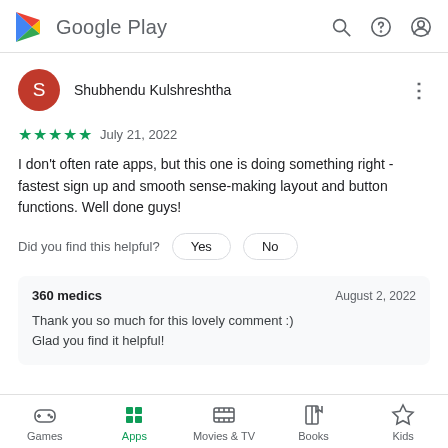Google Play
Shubhendu Kulshreshtha
★★★★★  July 21, 2022
I don't often rate apps, but this one is doing something right - fastest sign up and smooth sense-making layout and button functions. Well done guys!
Did you find this helpful?  Yes  No
360 medics   August 2, 2022
Thank you so much for this lovely comment :)
Glad you find it helpful!
Games  Apps  Movies & TV  Books  Kids